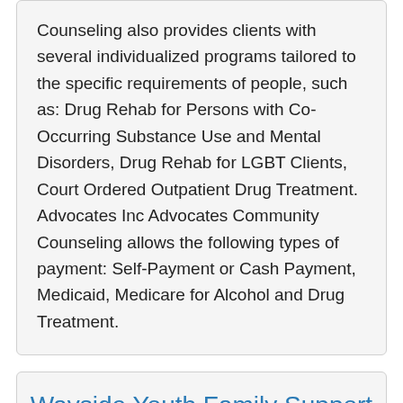Counseling also provides clients with several individualized programs tailored to the specific requirements of people, such as: Drug Rehab for Persons with Co-Occurring Substance Use and Mental Disorders, Drug Rehab for LGBT Clients, Court Ordered Outpatient Drug Treatment. Advocates Inc Advocates Community Counseling allows the following types of payment: Self-Payment or Cash Payment, Medicaid, Medicare for Alcohol and Drug Treatment.
Wayside Youth Family Support Network Wayside Metrowest Counseling Center